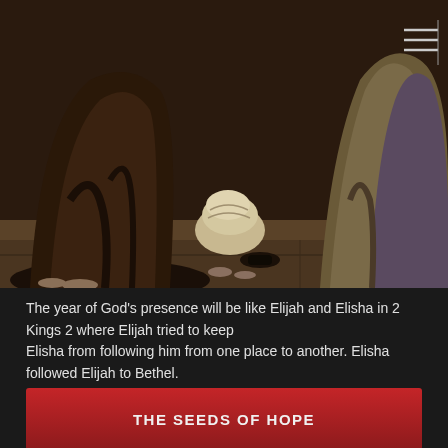[Figure (photo): Painting of biblical figures, showing robed people in an ancient setting with stone floor]
The year of God's presence will be like Elijah and Elisha in 2 Kings 2 where Elijah tried to keep
Elisha from following him from one place to another. Elisha followed Elijah to Bethel.
Bethel is the place where we meet The Lord and is a place of surrender.
THE SEEDS OF HOPE
[Figure (photo): Photo of two stacked stones/rings engraved with words 'Joy' and 'Pr...' (partially visible)]